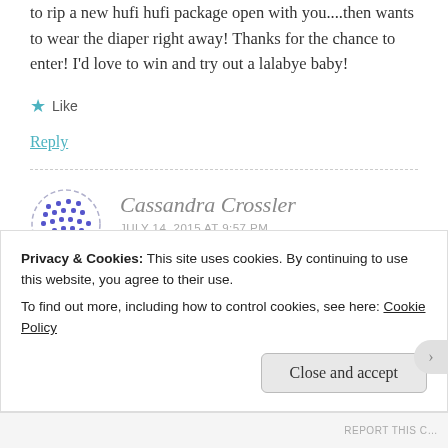to rip a new hufi hufi package open with you....then wants to wear the diaper right away! Thanks for the chance to enter! I'd love to win and try out a lalabye baby!
Like
Reply
Cassandra Crossler
JULY 14, 2015 AT 9:57 PM
Privacy & Cookies: This site uses cookies. By continuing to use this website, you agree to their use.
To find out more, including how to control cookies, see here: Cookie Policy
Close and accept